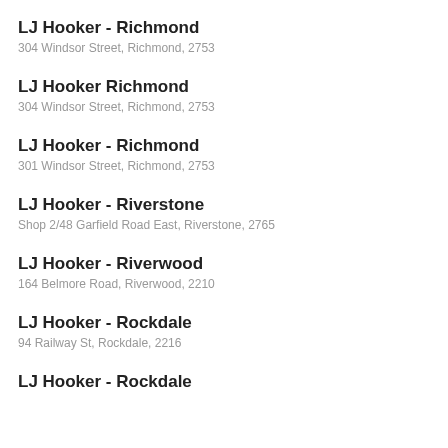LJ Hooker - Richmond
304 Windsor Street, Richmond, 2753
LJ Hooker Richmond
304 Windsor Street, Richmond, 2753
LJ Hooker - Richmond
301 Windsor Street, Richmond, 2753
LJ Hooker - Riverstone
Shop 2/48 Garfield Road East, Riverstone, 2765
LJ Hooker - Riverwood
164 Belmore Road, Riverwood, 2210
LJ Hooker - Rockdale
94 Railway St, Rockdale, 2216
LJ Hooker - Rockdale